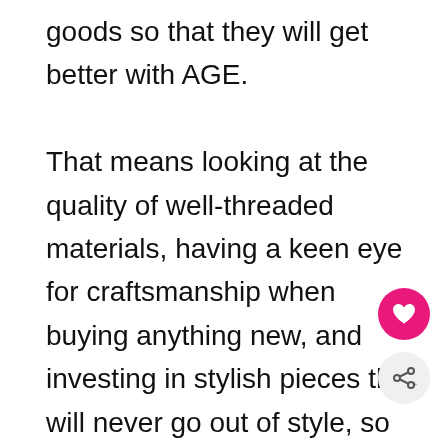goods so that they will get better with AGE.

That means looking at the quality of well-threaded materials, having a keen eye for craftsmanship when buying anything new, and investing in stylish pieces that will never go out of style, so that they can be worn for many years to come.